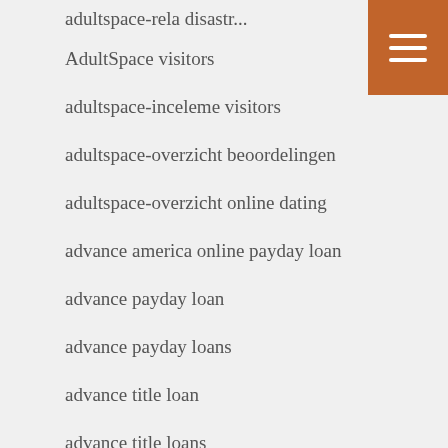AdultSpace visitors
adultspace-inceleme visitors
adultspace-overzicht beoordelingen
adultspace-overzicht online dating
advance america online payday loan
advance payday loan
advance payday loans
advance title loan
advance title loans
advanced payday loan
advanced payday loans
advantages of payday loans
Adventist Dating lo...